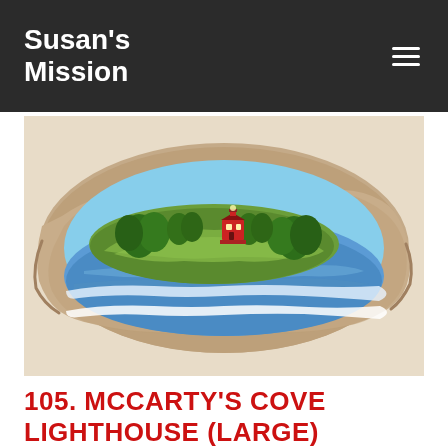Susan's Mission
[Figure (photo): A flat stone painted with a scenic landscape: a lighthouse scene showing McCarty's Cove with a red lighthouse building on a green tree-covered island, surrounded by blue water, painted on a natural flat rock with irregular edges, set on a beige background.]
105. MCCARTY'S COVE LIGHTHOUSE (LARGE)